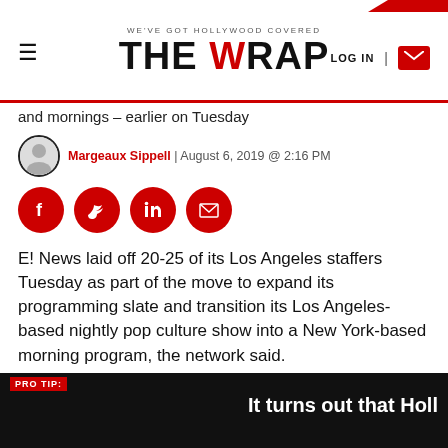WE'VE GOT HOLLYWOOD COVERED | THE WRAP | LOG IN
and mornings – earlier on Tuesday
Margeaux Sippell | August 6, 2019 @ 2:16 PM
[Figure (other): Social share buttons: Facebook, Twitter, LinkedIn, Email]
E! News laid off 20-25 of its Los Angeles staffers Tuesday as part of the move to expand its programming slate and transition its Los Angeles-based nightly pop culture show into a New York-based morning program, the network said.
The news was delivered Tuesday in a staff meeting held by executive vice president and editor in chief
PRO TIP: It turns out that Holl